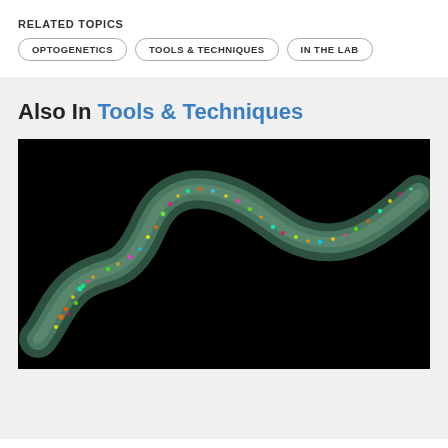RELATED TOPICS
OPTOGENETICS
TOOLS & TECHNIQUES
IN THE LAB
Also In Tools & Techniques
[Figure (photo): Fluorescence microscopy image of a C. elegans worm on a black background, showing colorful fluorescent dots along its sinusoidal body against a green-tinted translucent body.]